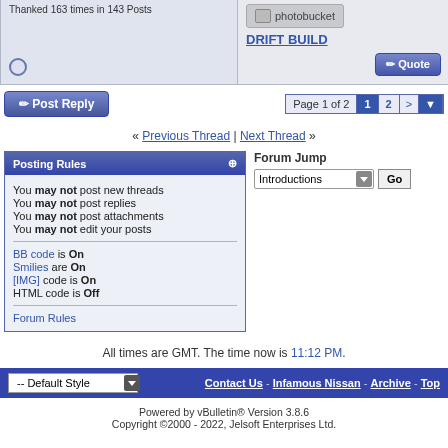Thanked 163 times in 143 Posts
[Figure (photo): Photobucket placeholder image with camera icon and text 'photobucket']
DRIFT BUILD
Post Reply | Page 1 of 2  1  2  >
« Previous Thread | Next Thread »
Posting Rules
You may not post new threads
You may not post replies
You may not post attachments
You may not edit your posts
BB code is On
Smilies are On
[IMG] code is On
HTML code is Off
Forum Rules
Forum Jump
Introductions
All times are GMT. The time now is 11:12 PM.
-- Default Style  |  Contact Us - Infamous Nissan - Archive - Top
Powered by vBulletin® Version 3.8.6
Copyright ©2000 - 2022, Jelsoft Enterprises Ltd.